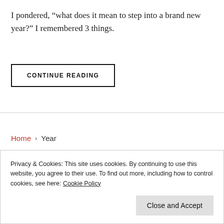I pondered, “what does it mean to step into a brand new year?” I remembered 3 things.
CONTINUE READING
Home › Year
Sermon: Overcoming
Privacy & Cookies: This site uses cookies. By continuing to use this website, you agree to their use. To find out more, including how to control cookies, see here: Cookie Policy
Close and Accept